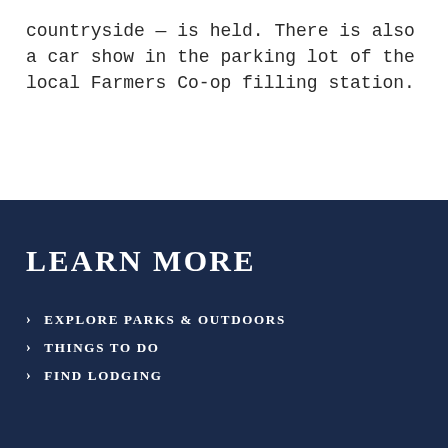countryside — is held. There is also a car show in the parking lot of the local Farmers Co-op filling station.
LEARN MORE
EXPLORE PARKS & OUTDOORS
THINGS TO DO
FIND LODGING